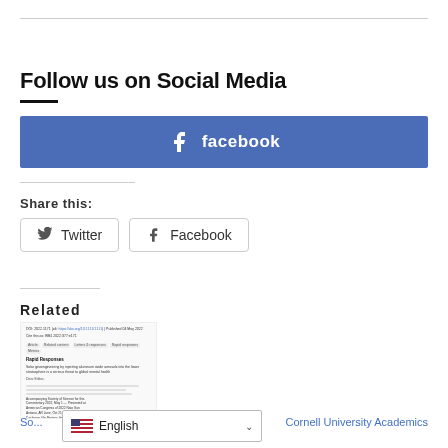Follow us on Social Media
[Figure (other): Facebook social media banner button in blue with Facebook logo icon and text 'facebook']
Share this:
[Figure (other): Twitter share button and Facebook share button side by side]
Related
[Figure (screenshot): Thumbnail of a related academic paper page]
Social media... Cornell University Academics